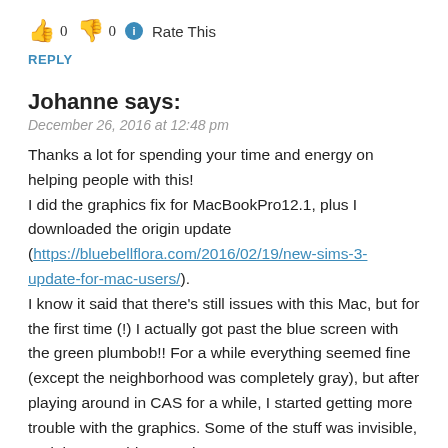👍 0 👎 0 ℹ Rate This
REPLY
Johanne says:
December 26, 2016 at 12:48 pm
Thanks a lot for spending your time and energy on helping people with this!
I did the graphics fix for MacBookPro12.1, plus I downloaded the origin update (https://bluebellflora.com/2016/02/19/new-sims-3-update-for-mac-users/).
I know it said that there's still issues with this Mac, but for the first time (!) I actually got past the blue screen with the green plumbob!! For a while everything seemed fine (except the neighborhood was completely gray), but after playing around in CAS for a while, I started getting more trouble with the graphics. Some of the stuff was invisible, and then I couldn't see the